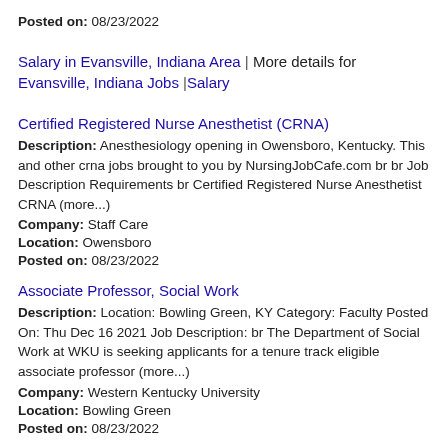Posted on: 08/23/2022
Salary in Evansville, Indiana Area | More details for Evansville, Indiana Jobs |Salary
Certified Registered Nurse Anesthetist (CRNA)
Description: Anesthesiology opening in Owensboro, Kentucky. This and other crna jobs brought to you by NursingJobCafe.com br br Job Description Requirements br Certified Registered Nurse Anesthetist CRNA (more...)
Company: Staff Care
Location: Owensboro
Posted on: 08/23/2022
Associate Professor, Social Work
Description: Location: Bowling Green, KY Category: Faculty Posted On: Thu Dec 16 2021 Job Description: br The Department of Social Work at WKU is seeking applicants for a tenure track eligible associate professor (more...)
Company: Western Kentucky University
Location: Bowling Green
Posted on: 08/23/2022